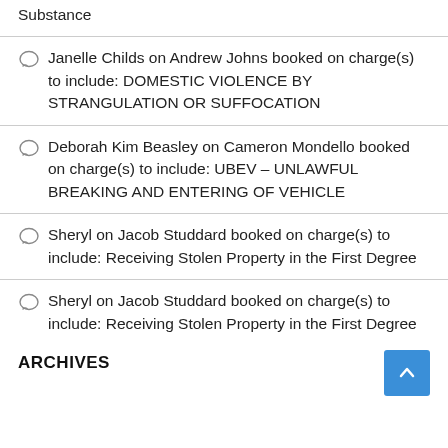Substance
Janelle Childs on Andrew Johns booked on charge(s) to include: DOMESTIC VIOLENCE BY STRANGULATION OR SUFFOCATION
Deborah Kim Beasley on Cameron Mondello booked on charge(s) to include: UBEV – UNLAWFUL BREAKING AND ENTERING OF VEHICLE
Sheryl on Jacob Studdard booked on charge(s) to include: Receiving Stolen Property in the First Degree
Sheryl on Jacob Studdard booked on charge(s) to include: Receiving Stolen Property in the First Degree
ARCHIVES